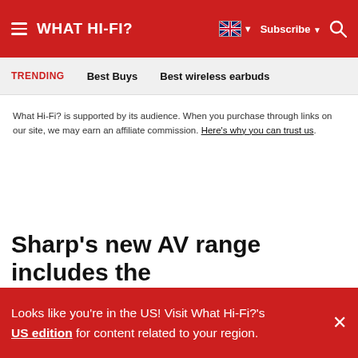WHAT HI-FI?
TRENDING  Best Buys  Best wireless earbuds
What Hi-Fi? is supported by its audience. When you purchase through links on our site, we may earn an affiliate commission. Here's why you can trust us.
Sharp's new AV range includes the
Looks like you're in the US! Visit What Hi-Fi?'s US edition for content related to your region.